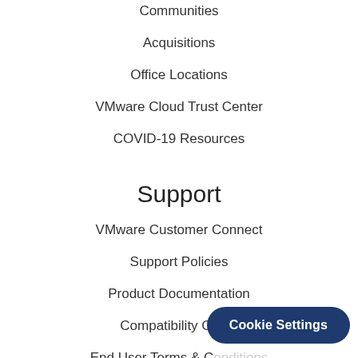Communities
Acquisitions
Office Locations
VMware Cloud Trust Center
COVID-19 Resources
Support
VMware Customer Connect
Support Policies
Product Documentation
Compatibility Guide
End User Terms & Conditions
Cookie Settings